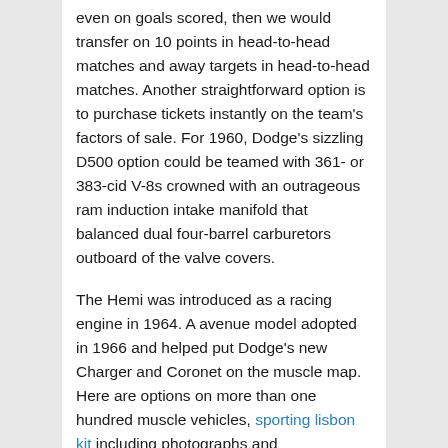even on goals scored, then we would transfer on 10 points in head-to-head matches and away targets in head-to-head matches. Another straightforward option is to purchase tickets instantly on the team's factors of sale. For 1960, Dodge's sizzling D500 option could be teamed with 361- or 383-cid V-8s crowned with an outrageous ram induction intake manifold that balanced dual four-barrel carburetors outboard of the valve covers.
The Hemi was introduced as a racing engine in 1964. A avenue model adopted in 1966 and helped put Dodge's new Charger and Coronet on the muscle map. Here are options on more than one hundred muscle vehicles, sporting lisbon kit including photographs and specifications for every model. Return to Muscle Car Info Library. Dodge lastly joined the pony automobile ranks for 1970 with the Challenger.
Dodge showrooms in 1968 also included the low-worth, excessive profile Coronet-based Super Bee, the division's reply to the Plymouth Street Runner. An offshoot of the Coronet, the 1968 Dodge Super Bee buzzed in on the